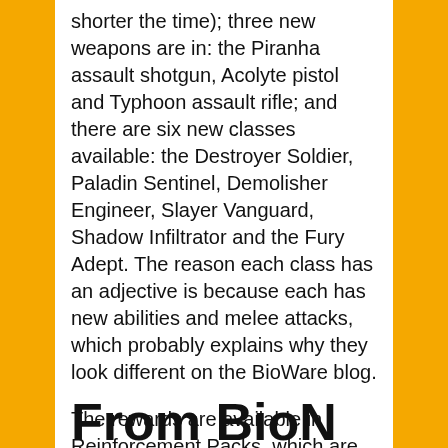shorter the time); three new weapons are in: the Piranha assault shotgun, Acolyte pistol and Typhoon assault rifle; and there are six new classes available: the Destroyer Soldier, Paladin Sentinel, Demolisher Engineer, Slayer Vanguard, Shadow Infiltrator and the Fury Adept. The reason each class has an adjective is because each has new abilities and melee attacks, which probably explains why they look different on the BioWare blog.
The rewards are available in Reinforcement Packs, which are bought through credits earned while playing and randomly give items.
From BioN...